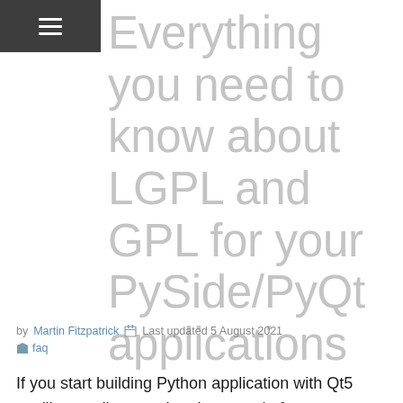≡
Everything you need to know about LGPL and GPL for your PySide/PyQt applications
by Martin Fitzpatrick  Last updated 5 August 2021  faq
If you start building Python application with Qt5 you'll soon discover that there are in fact two packages which you can use to do this — PyQt and PySide.